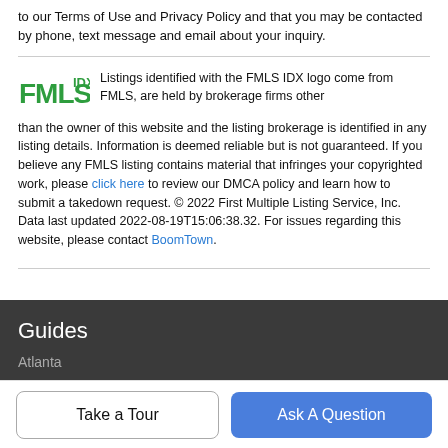to our Terms of Use and Privacy Policy and that you may be contacted by phone, text message and email about your inquiry.
Listings identified with the FMLS IDX logo come from FMLS, are held by brokerage firms other than the owner of this website and the listing brokerage is identified in any listing details. Information is deemed reliable but is not guaranteed. If you believe any FMLS listing contains material that infringes your copyrighted work, please click here to review our DMCA policy and learn how to submit a takedown request. © 2022 First Multiple Listing Service, Inc. Data last updated 2022-08-19T15:06:38.32. For issues regarding this website, please contact BoomTown.
Guides
Atlanta